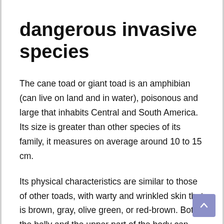dangerous invasive species
The cane toad or giant toad is an amphibian (can live on land and in water), poisonous and large that inhabits Central and South America. Its size is greater than other species of its family, it measures on average around 10 to 15 cm.
Its physical characteristics are similar to those of other toads, with warty and wrinkled skin that is brown, gray, olive green, or red-brown. Both the belly and the upper part of the body can